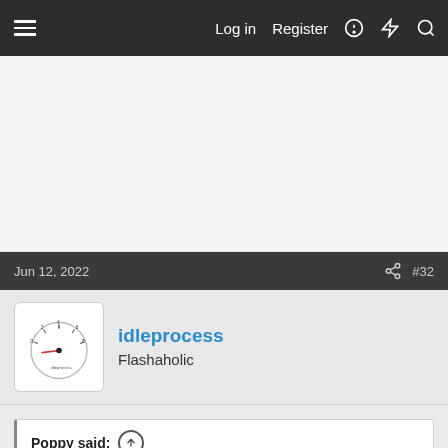Log in  Register
Jun 12, 2022  #32
idleprocess
Flashaholic
Poppy said:
MADE in China leaves one with the expectation of poor quality control, and a higher than made in the USA failure